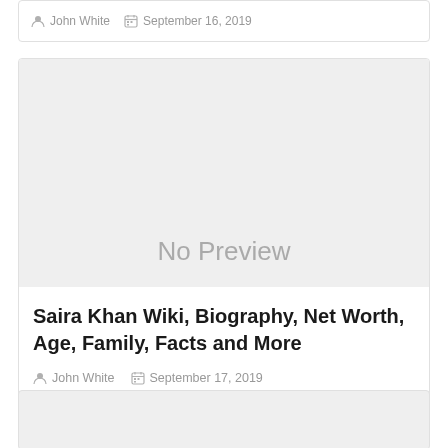John White  September 16, 2019
[Figure (other): No Preview image placeholder with grey background]
Saira Khan Wiki, Biography, Net Worth, Age, Family, Facts and More
John White  September 17, 2019